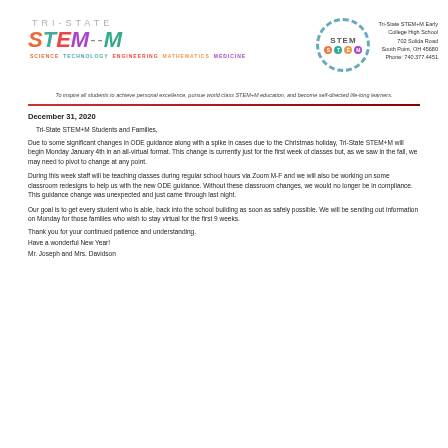[Figure (logo): Tri-State STEM+M school logo with colorful letters and STEM circle badge, plus address block]
To inspire all students to achieve personal excellence, pursue world class STEM+M education, and become self-directed life-long learners.
December 31, 2020
Tri-State STEM+M Students and Families,
Due to some significant changes in ODE guidance along with a spike in cases due to the Christmas holiday, Tri-State STEM+M will begin Monday January 4th in an all-virtual format. This change is currently just for the first week of classes but, as we saw in the fall, we may need to pivot to change at any point.
During this week staff will be teaching classes during regular school hours via Zoom M-F and we will also be working on some classroom redesigns to help us with the new ODE guidance. Without these classroom changes, we would no longer be in compliance. This guidance change was unexpected and just came through last night.
Our goal is to get every student who is able, back into the school building as soon as safely possible. We will be sending out information on Monday for those families who wish to stay virtual for the first 9 weeks.
Thank you for your continued patience and understanding.
Have a wonderful New Year!
Mr. Joseph and Mrs. Davidson